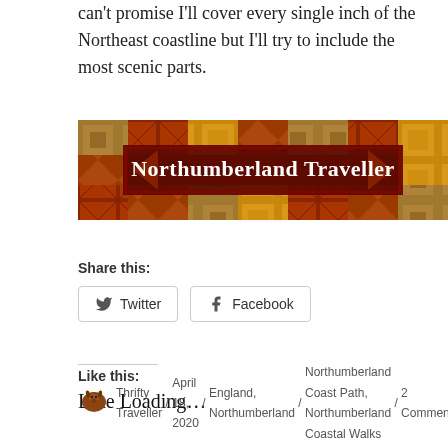can't promise I'll cover every single inch of the Northeast coastline but I'll try to include the most scenic parts.
[Figure (illustration): Northumberland Traveller banner — decorative patchwork quilt pattern in reds, golds, and browns with the text 'Northumberland Traveller' in white serif lettering centered in a dark red bordered rectangle.]
Share this:
Twitter  Facebook
Like this:
Like Loading...
Thrifty Traveller / April 18, 2020 / England, Northumberland / Northumberland Coast Path, Northumberland Coastal Walks / 2 Comments